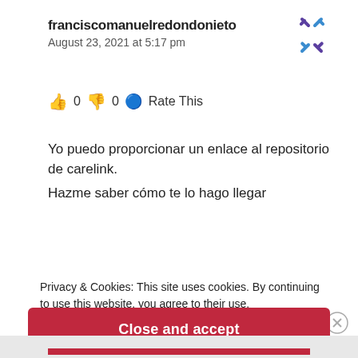franciscomanuelredondonieto
August 23, 2021 at 5:17 pm
[Figure (logo): Purple and blue pinwheel/loading spinner icon in top right corner]
👍 0 👎 0 🔵 Rate This
Yo puedo proporcionar un enlace al repositorio de carelink.
Hazme saber cómo te lo hago llegar
Privacy & Cookies: This site uses cookies. By continuing to use this website, you agree to their use.
To find out more, including how to control cookies, see here:
Cookie Policy
Close and accept